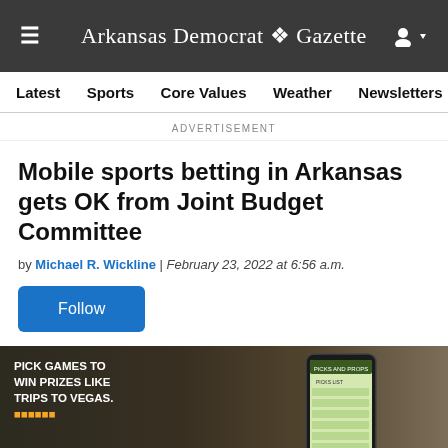Arkansas Democrat Gazette
Latest  Sports  Core Values  Weather  Newsletters  Ob
ADVERTISEMENT
Mobile sports betting in Arkansas gets OK from Joint Budget Committee
by Michael R. Wickline | February 23, 2022 at 6:56 a.m.
Follow
[Figure (photo): Photo of a smartphone displaying a sports betting app with picks and props, against a background with text about picking games to win prizes like trips to Vegas]